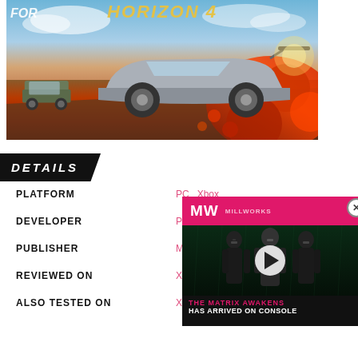[Figure (photo): Forza Horizon 4 game cover art showing a silver sports car racing through autumn leaves with a 4x4 vehicle in background, dramatic sky. 'HORIZON 4' text visible in yellow at top.]
DETAILS
| PLATFORM | PC   Xbox |
| DEVELOPER | Playground |
| PUBLISHER | Microsoft St |
| REVIEWED ON | Xbox One |
| ALSO TESTED ON | Xbox One X |
[Figure (screenshot): Advertisement overlay for 'The Matrix Awakens has arrived on console' featuring MW (Millworks) logo on pink banner, three Matrix characters in dark outfits, play button, with dark background.]